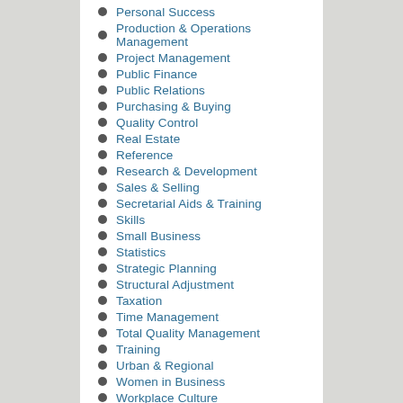Personal Success
Production & Operations Management
Project Management
Public Finance
Public Relations
Purchasing & Buying
Quality Control
Real Estate
Reference
Research & Development
Sales & Selling
Secretarial Aids & Training
Skills
Small Business
Statistics
Strategic Planning
Structural Adjustment
Taxation
Time Management
Total Quality Management
Training
Urban & Regional
Women in Business
Workplace Culture
Workplace Harassment & Discrimination